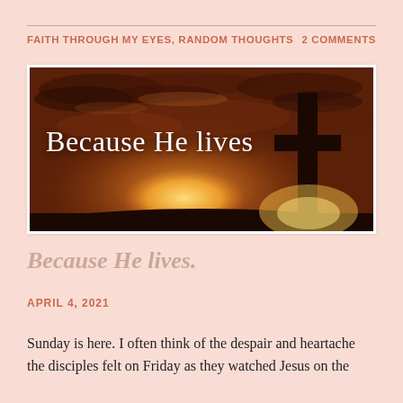FAITH THROUGH MY EYES, RANDOM THOUGHTS    2 COMMENTS
[Figure (photo): A dramatic sunset sky with warm orange and amber tones, silhouette of a Christian cross on the right, and script text reading 'Because He lives' overlaid on the image.]
Because He lives.
APRIL 4, 2021
Sunday is here. I often think of the despair and heartache the disciples felt on Friday as they watched Jesus on the